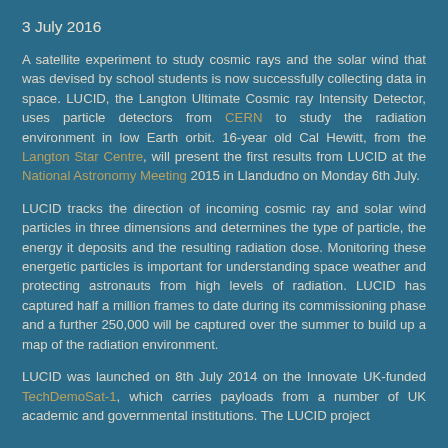3 July 2016
A satellite experiment to study cosmic rays and the solar wind that was devised by school students is now successfully collecting data in space. LUCID, the Langton Ultimate Cosmic ray Intensity Detector, uses particle detectors from CERN to study the radiation environment in low Earth orbit. 16-year old Cal Hewitt, from the Langton Star Centre, will present the first results from LUCID at the National Astronomy Meeting 2015 in Llandudno on Monday 6th July.
LUCID tracks the direction of incoming cosmic ray and solar wind particles in three dimensions and determines the type of particle, the energy it deposits and the resulting radiation dose. Monitoring these energetic particles is important for understanding space weather and protecting astronauts from high levels of radiation. LUCID has captured half a million frames to date during its commissioning phase and a further 250,000 will be captured over the summer to build up a map of the radiation environment.
LUCID was launched on 8th July 2014 on the Innovate UK-funded TechDemoSat-1, which carries payloads from a number of UK academic and governmental institutions. The LUCID project